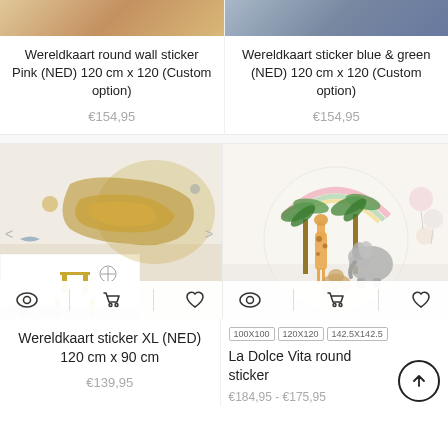[Figure (photo): Partial top of product image - Wereldkaart round wall sticker Pink]
[Figure (photo): Partial top of product image - Wereldkaart sticker blue & green]
Wereldkaart round wall sticker Pink (NED) 120 cm x 120 (Custom option)
Wereldkaart sticker blue & green (NED) 120 cm x 120 (Custom option)
€154,95
€154,95
[Figure (photo): Wereldkaart sticker XL world map with animals in children's room]
[Figure (photo): La Dolce Vita round sticker with giraffe, elephant, and jungle animals]
Wereldkaart sticker XL (NED) 120 cm x 90 cm
100X100
120X120
142.5X142.5
La Dolce Vita round sticker
€139,95
€184,95 - €175,95